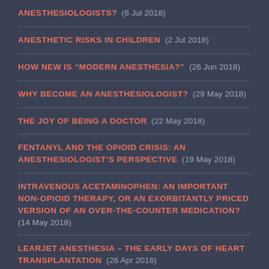ANESTHESIOLOGISTS? (6 Jul 2018)
ANESTHETIC RISKS IN CHILDREN (2 Jul 2018)
HOW NEW IS “MODERN ANESTHESIA?” (26 Jun 2018)
WHY BECOME AN ANESTHESIOLOGIST? (29 May 2018)
THE JOY OF BEING A DOCTOR (22 May 2018)
FENTANYL AND THE OPIOID CRISIS: AN ANESTHESIOLOGIST’S PERSPECTIVE (19 May 2018)
INTRAVENOUS ACETAMINOPHEN: AN IMPORTANT NON-OPIOID THERAPY, OR AN EXORBITANTLY PRICED VERSION OF AN OVER-THE-COUNTER MEDICATION? (14 May 2018)
LEARJET ANESTHESIA – THE EARLY DAYS OF HEART TRANSPLANTATION (26 Apr 2018)
THE #7 ANESTHESIA BLOG IN THE WORLD (4 Apr